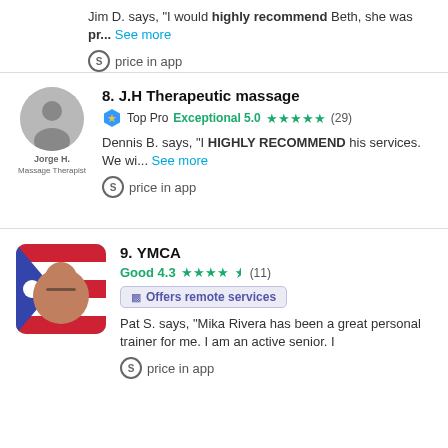Jim D. says, "I would highly recommend Beth, she was pr... See more"
price in app
8. J.H Therapeutic massage
Top Pro Exceptional 5.0 ★★★★★ (29)
Dennis B. says, "I HIGHLY RECOMMEND his services. We wi... See more"
price in app
9. YMCA
Good 4.3 ★★★★½ (11)
Offers remote services
Pat S. says, "Mika Rivera has been a great personal trainer for me. I am an active senior. I
price in app